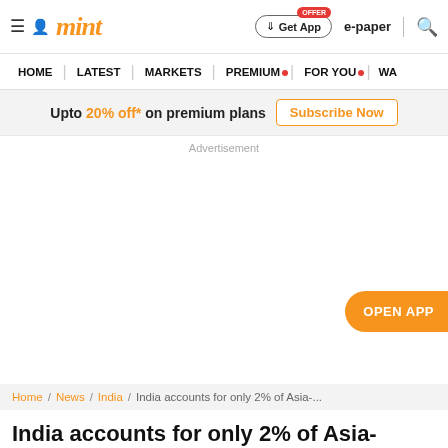mint — Home | Latest | Markets | Premium | For You | WA
Upto 20% off* on premium plans — Subscribe Now
Advertisement
OPEN APP
Home / News / India / India accounts for only 2% of Asia-...
India accounts for only 2% of Asia-Pacific ESG